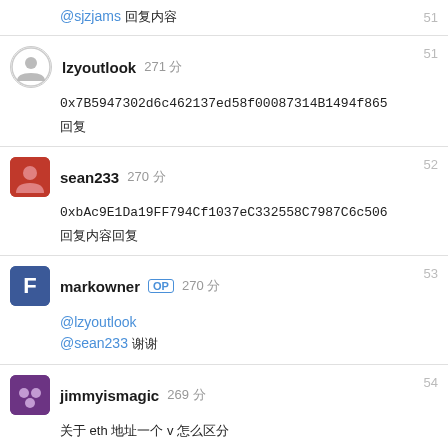@sjzjams 回复内容
lzyoutlook 271分 - 0x7B5947302d6c462137ed58f00087314B1494f865 - 回复
sean233 270分 - 0xbAc9E1Da19FF794Cf1037eC332558C7987C6c506 - 回复内容
markowner OP 270分 - @lzyoutlook @sean233 谢谢
jimmyismagic 269分 - 关于 eth 地址一个 v 怎么区分
markowner OP 269分 - @jimmyismagic ? 不太懂
LitterL 269分 - 0x50aADo368f4c86306af47383b6339a6Db8o1779E